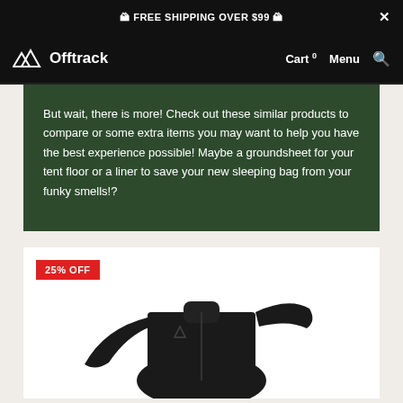🏔 FREE SHIPPING OVER $99 🏔
[Figure (logo): Offtrack outdoor brand logo with mountain triangle icon and nav bar showing Cart, Menu, Search]
But wait, there is more! Check out these similar products to compare or some extra items you may want to help you have the best experience possible! Maybe a groundsheet for your tent floor or a liner to save your new sleeping bag from your funky smells!?
[Figure (photo): Black fleece quarter-zip jacket product photo on white background with 25% OFF red badge]